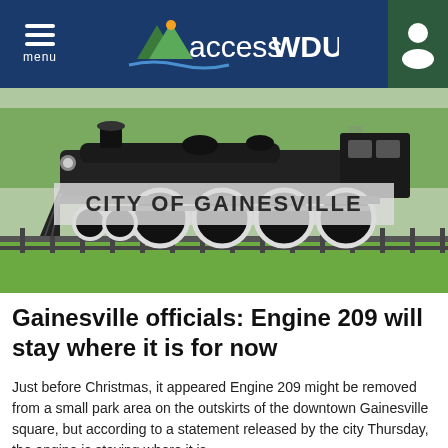menu | accessWDUN
[Figure (photo): Black steam locomotive (Engine 209) displayed in a park with green grass and trees in background. Text overlay reads CITY OF GAINESVILLE.]
Gainesville officials: Engine 209 will stay where it is for now
Just before Christmas, it appeared Engine 209 might be removed from a small park area on the outskirts of the downtown Gainesville square, but according to a statement released by the city Thursday, the engine is staying where it is.